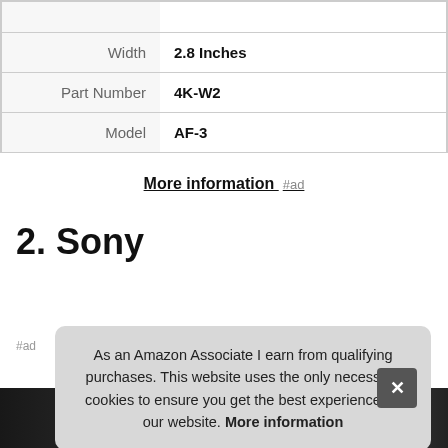|  |  |
| --- | --- |
|  |  |
| Width | 2.8 Inches |
| Part Number | 4K-W2 |
| Model | AF-3 |
More information #ed
2. Sony
#ad
As an Amazon Associate I earn from qualifying purchases. This website uses the only necessary cookies to ensure you get the best experience on our website. More information
[Figure (photo): Bottom strip showing a Sony product image, dark background with the Sony logo text visible]